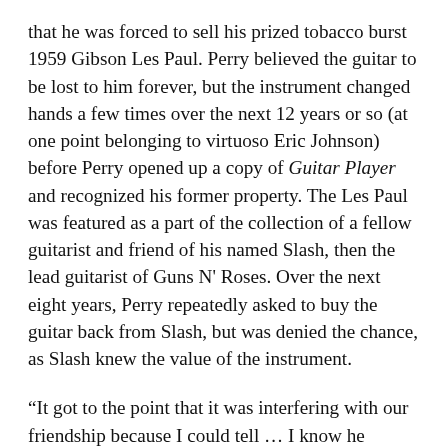that he was forced to sell his prized tobacco burst 1959 Gibson Les Paul. Perry believed the guitar to be lost to him forever, but the instrument changed hands a few times over the next 12 years or so (at one point belonging to virtuoso Eric Johnson) before Perry opened up a copy of Guitar Player and recognized his former property. The Les Paul was featured as a part of the collection of a fellow guitarist and friend of his named Slash, then the lead guitarist of Guns N' Roses. Over the next eight years, Perry repeatedly asked to buy the guitar back from Slash, but was denied the chance, as Slash knew the value of the instrument.
“It got to the point that it was interfering with our friendship because I could tell … I know he wanted to give it back to me but he couldn’t part with it."